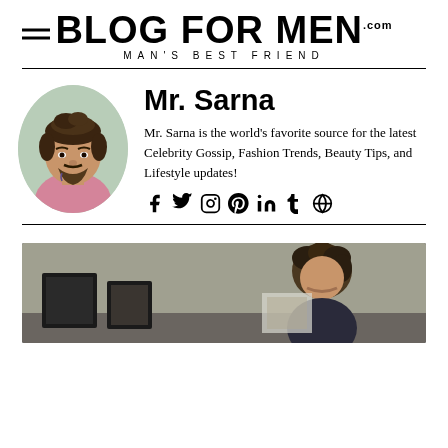BLOG FOR MEN .com MAN'S BEST FRIEND
Mr. Sarna
Mr. Sarna is the world's favorite source for the latest Celebrity Gossip, Fashion Trends, Beauty Tips, and Lifestyle updates!
[Figure (infographic): Social media icons: Facebook, Twitter, Instagram, Pinterest, LinkedIn, Tumblr, Globe]
[Figure (photo): Circular profile photo of Mr. Sarna, a man with styled brown hair and beard, wearing a pink shirt]
[Figure (photo): Bottom portion of page showing a man looking at framed artwork in what appears to be a studio or gallery]